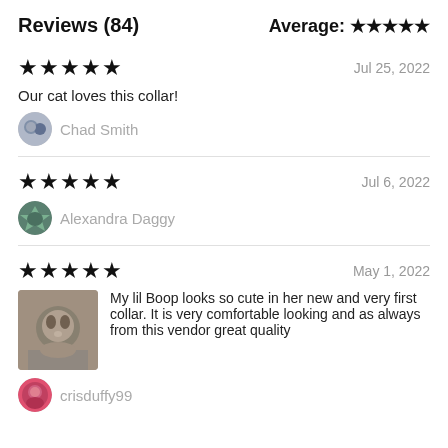Reviews (84)
Average: ★★★★★
★★★★★   Jul 25, 2022
Our cat loves this collar!
Chad Smith
★★★★★   Jul 6, 2022
Alexandra Daggy
★★★★★   May 1, 2022
My lil Boop looks so cute in her new and very first collar. It is very comfortable looking and as always from this vendor great quality
crisduffy99